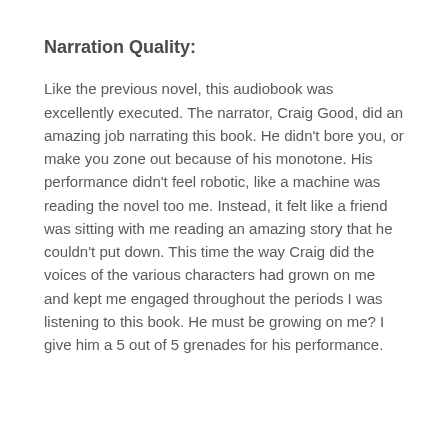Narration Quality:
Like the previous novel, this audiobook was excellently executed.  The narrator, Craig Good, did an amazing job narrating this book.  He didn't bore you, or make you zone out because of his monotone.  His performance didn't feel robotic, like a machine was reading the novel too me.  Instead, it felt like a friend was sitting with me reading an amazing story that he couldn't put down.  This time the way Craig did the voices of the various characters had grown on me and kept me engaged throughout the periods I was listening to this book.  He must be growing on me?  I give him a 5 out of 5 grenades for his performance.